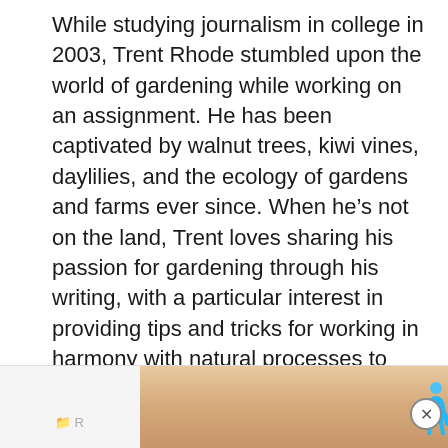While studying journalism in college in 2003, Trent Rhode stumbled upon the world of gardening while working on an assignment. He has been captivated by walnut trees, kiwi vines, daylilies, and the ecology of gardens and farms ever since. When he’s not on the land, Trent loves sharing his passion for gardening through his writing, with a particular interest in providing tips and tricks for working in harmony with natural processes to allow nature to do some of the heavy lifting.
More Posts
[Figure (screenshot): Advertisement banner at bottom of page showing 'Hold and Move' with two animated blue figures, close button in top right corner]